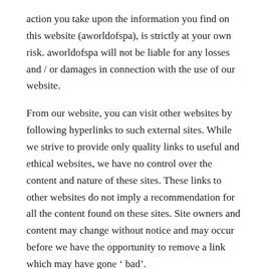action you take upon the information you find on this website (aworldofspa), is strictly at your own risk. aworldofspa will not be liable for any losses and / or damages in connection with the use of our website.
From our website, you can visit other websites by following hyperlinks to such external sites. While we strive to provide only quality links to useful and ethical websites, we have no control over the content and nature of these sites. These links to other websites do not imply a recommendation for all the content found on these sites. Site owners and content may change without notice and may occur before we have the opportunity to remove a link which may have gone ‘ bad’.
Please be also aware that when you leave our website, other sites may have different privacy policies and terms which are